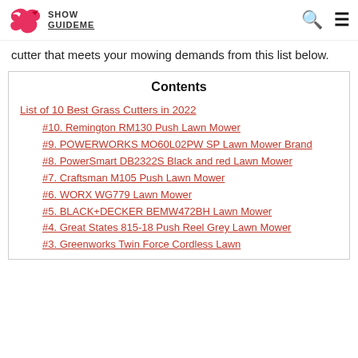Show GuideMe
cutter that meets your mowing demands from this list below.
| Contents |
| --- |
| List of 10 Best Grass Cutters in 2022 |
| #10. Remington RM130 Push Lawn Mower |
| #9. POWERWORKS MO60L02PW SP Lawn Mower Brand |
| #8. PowerSmart DB2322S Black and red Lawn Mower |
| #7. Craftsman M105 Push Lawn Mower |
| #6. WORX WG779 Lawn Mower |
| #5. BLACK+DECKER BEMW472BH Lawn Mower |
| #4. Great States 815-18 Push Reel Grey Lawn Mower |
| #3. Greenworks Twin Force Cordless Lawn |